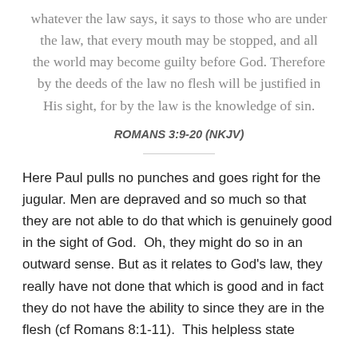whatever the law says, it says to those who are under the law, that every mouth may be stopped, and all the world may become guilty before God. Therefore by the deeds of the law no flesh will be justified in His sight, for by the law is the knowledge of sin.
ROMANS 3:9-20 (NKJV)
Here Paul pulls no punches and goes right for the jugular. Men are depraved and so much so that they are not able to do that which is genuinely good in the sight of God.  Oh, they might do so in an outward sense. But as it relates to God's law, they really have not done that which is good and in fact they do not have the ability to since they are in the flesh (cf Romans 8:1-11).  This helpless state